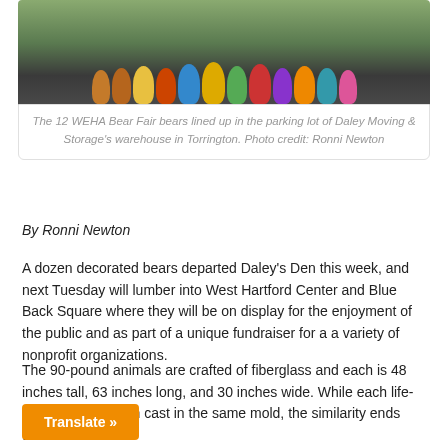[Figure (photo): Colorful decorated fiberglass bears lined up in a parking lot, with a green grassy background. Multiple bears of different colors and designs are visible.]
The 12 WEHA Bear Fair bears lined up in the parking lot of Daley Moving & Storage's warehouse in Torrington. Photo credit: Ronni Newton
By Ronni Newton
A dozen decorated bears departed Daley's Den this week, and next Tuesday will lumber into West Hartford Center and Blue Back Square where they will be on display for the enjoyment of the public and as part of a unique fundraiser for a a variety of nonprofit organizations.
The 90-pound animals are crafted of fiberglass and each is 48 inches tall, 63 inches long, and 30 inches wide. While each life-size bear has been cast in the same mold, the similarity ends there.